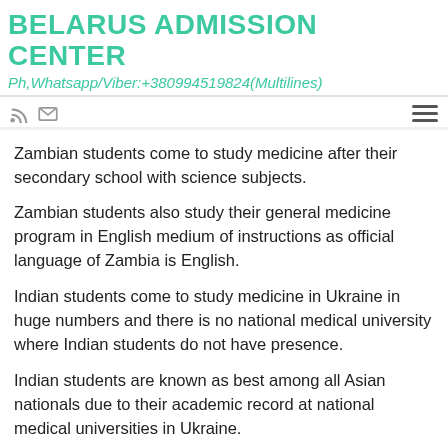BELARUS ADMISSION CENTER
Ph,Whatsapp/Viber:+380994519824(Multilines)
Zambian students come to study medicine after their secondary school with science subjects.
Zambian students also study their general medicine program in English medium of instructions as official language of Zambia is English.
Indian students come to study medicine in Ukraine in huge numbers and there is no national medical university where Indian students do not have presence.
Indian students are known as best among all Asian nationals due to their academic record at national medical universities in Ukraine.
Indian students study their MBBS in Ukraine after 12 Years of